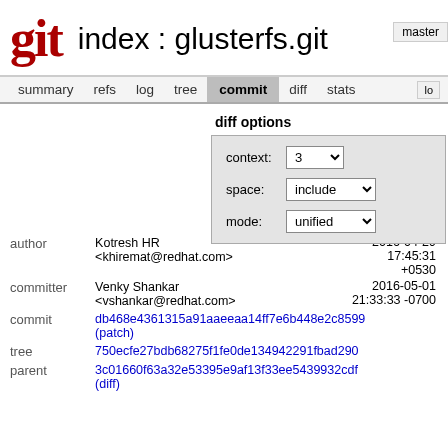git  index : glusterfs.git  master
summary  refs  log  tree  commit  diff  stats  lo
diff options
context: 3
space: include
mode: unified
|  |  |  |
| --- | --- | --- |
| author | Kotresh HR <khiremat@redhat.com> | 2016-04-29 17:45:31 +0530 |
| committer | Venky Shankar <vshankar@redhat.com> | 2016-05-01 21:33:33 -0700 |
| commit | db468e4361315a91aaeeaa14ff7e6b448e2c8599 (patch) |  |
| tree | 750ecfe27bdb68275f1fe0de134942291fbad290 |  |
| parent | 3c01660f63a32e53395e9af13f33ee5439932cdf (diff) |  |